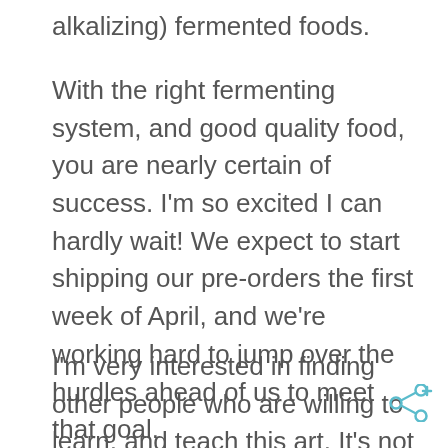alkalizing) fermented foods.
With the right fermenting system, and good quality food, you are nearly certain of success. I'm so excited I can hardly wait! We expect to start shipping our pre-orders the first week of April, and we're working hard to jump over the hurdles ahead of us to meet that goal.
I'm very interested in finding other people who are willing to learn, and teach this art. It's not that hard, and most people are tentative about it: we've grown up in a society where we sterilize everything for "safety", and learning from someone who